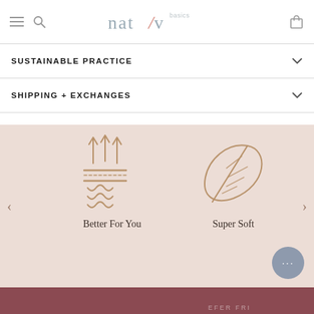[Figure (logo): Nativ Basics logo with stylized text]
SUSTAINABLE PRACTICE
SHIPPING + EXCHANGES
[Figure (illustration): Carousel section with 'Better For You' icon (breath/temperature regulation layers) and 'Super Soft' icon (feather leaf). Navigation arrows on left and right.]
Better For You
Super Soft